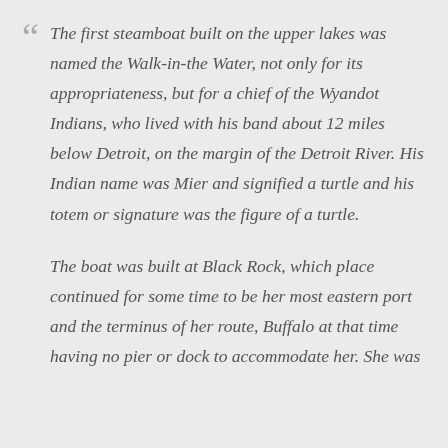The first steamboat built on the upper lakes was named the Walk-in-the Water, not only for its appropriateness, but for a chief of the Wyandot Indians, who lived with his band about 12 miles below Detroit, on the margin of the Detroit River. His Indian name was Mier and signified a turtle and his totem or signature was the figure of a turtle.
The boat was built at Black Rock, which place continued for some time to be her most eastern port and the terminus of her route, Buffalo at that time having no pier or dock to accommodate her. She was